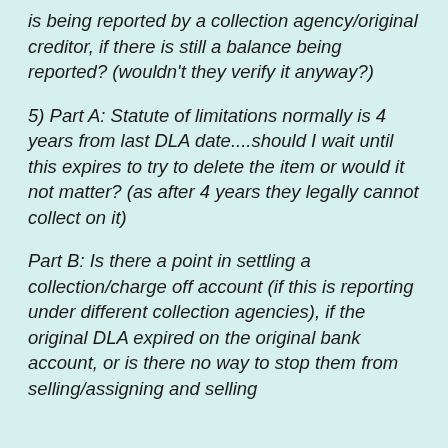is being reported by a collection agency/original creditor, if there is still a balance being reported? (wouldn't they verify it anyway?)
5) Part A: Statute of limitations normally is 4 years from last DLA date....should I wait until this expires to try to delete the item or would it not matter? (as after 4 years they legally cannot collect on it)
Part B: Is there a point in settling a collection/charge off account (if this is reporting under different collection agencies), if the original DLA expired on the original bank account, or is there no way to stop them from selling/assigning and selling